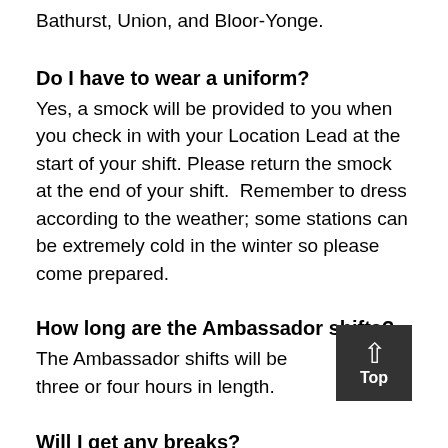Bathurst, Union, and Bloor-Yonge.
Do I have to wear a uniform?
Yes, a smock will be provided to you when you check in with your Location Lead at the start of your shift. Please return the smock at the end of your shift.  Remember to dress according to the weather; some stations can be extremely cold in the winter so please come prepared.
How long are the Ambassador shifts?
The Ambassador shifts will be three or four hours in length.
Will I get any breaks?
Location Leads will provide a break as required